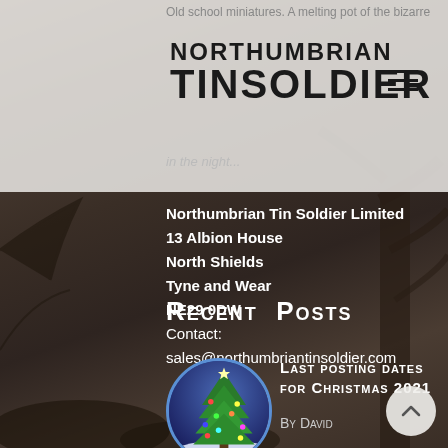Northumbrian Tin Soldier
Northumbrian Tin Soldier Limited
13 Albion House
North Shields
Tyne and Wear
NE29 0DW
Contact: sales@northumbriantinsoldier.com
Recent Posts
[Figure (photo): Circular thumbnail image of a Christmas tree with lights in a snowy forest at dusk, blue and purple tones]
Last posting dates for Christmas 2021
By David